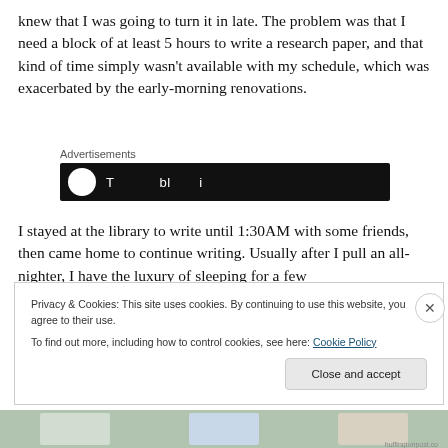knew that I was going to turn it in late. The problem was that I need a block of at least 5 hours to write a research paper, and that kind of time simply wasn't available with my schedule, which was exacerbated by the early-morning renovations.
[Figure (screenshot): Advertisements banner with dark background showing a circular logo and partial text]
I stayed at the library to write until 1:30AM with some friends, then came home to continue writing. Usually after I pull an all-nighter, I have the luxury of sleeping for a few
Privacy & Cookies: This site uses cookies. By continuing to use this website, you agree to their use.
To find out more, including how to control cookies, see here: Cookie Policy
Close and accept